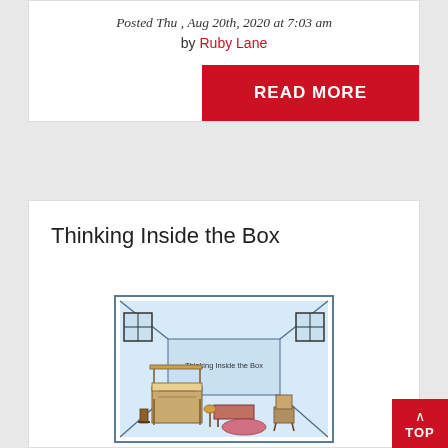Posted Thu , Aug 20th, 2020 at 7:03 am by Ruby Lane
READ MORE
Thinking Inside the Box
[Figure (illustration): Illustration of a dollhouse room interior with miniature bedroom furniture including a canopy bed, bench, lamp, rug, and chair. Text reads 'Thinking Inside the Box'.]